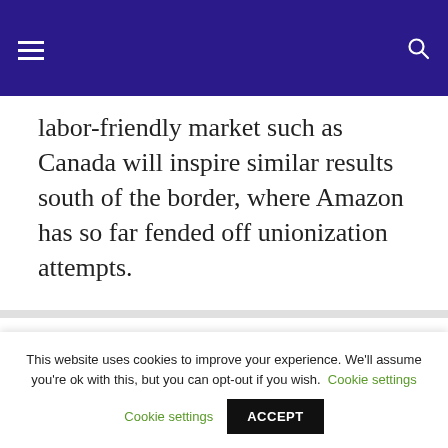Navigation bar with hamburger menu and search icon
labor-friendly market such as Canada will inspire similar results south of the border, where Amazon has so far fended off unionization attempts.
This website uses cookies to improve your experience. We'll assume you're ok with this, but you can opt-out if you wish. Cookie settings ACCEPT